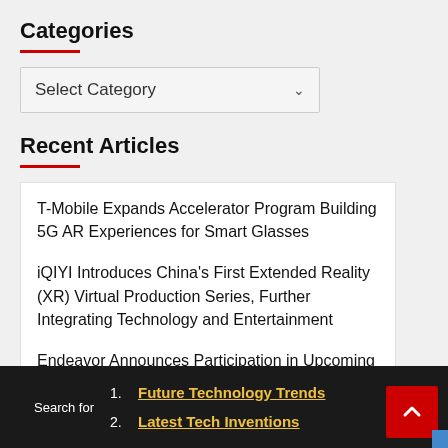Categories
Select Category
Recent Articles
T-Mobile Expands Accelerator Program Building 5G AR Experiences for Smart Glasses
iQIYI Introduces China's First Extended Reality (XR) Virtual Production Series, Further Integrating Technology and Entertainment
Endeavor Announces Participation in Upcoming Investor Conferences
Search for
1. Future Technology Trends
2. Latest Tech Inventions